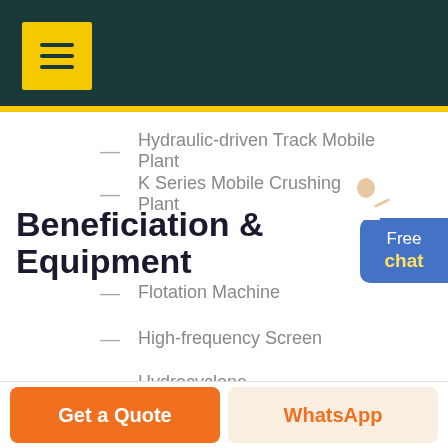[Figure (screenshot): Dark teal header bar with yellow hamburger menu button in top-left corner]
Hydraulic-driven Track Mobile Plant
K Series Mobile Crushing Plant
Beneficiation & Equipment
Flotation Machine
High-frequency Screen
Hydrocyclone
Magnetic Separation Machine
Free chat
Get a Quote | WhatsApp